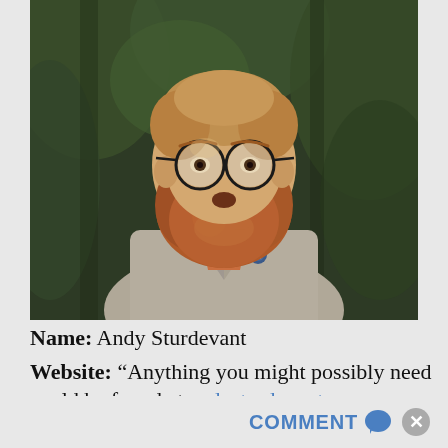[Figure (photo): A man with a large red beard and round glasses, wearing a tan blazer with a button pin and an orange neckerchief, photographed outdoors in a wooded area with green foliage in the background.]
Name: Andy Sturdevant
Website: “Anything you might possibly need could be found at andysturdevant.com, southtwelfth.tumblr.com, salonsaloon.info, or commonroommpls.org. I also have a very professional-looking LinkedIn profile full of completely made-up information.”